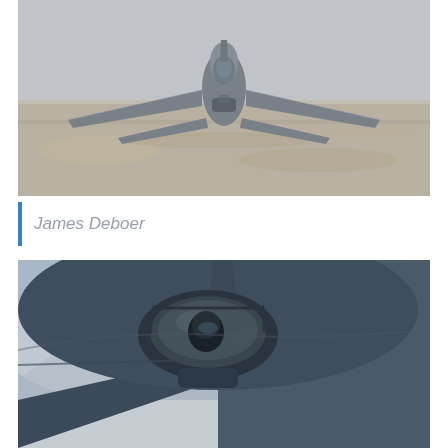[Figure (photo): Front-facing view of an F-35 fighter jet in flight over a desert landscape, photographed from slightly above and ahead of the aircraft.]
James Deboer
[Figure (photo): Close-up cockpit view of an F-35 fighter jet in flight, showing the pilot in the cockpit with mountains and clouds in the background.]